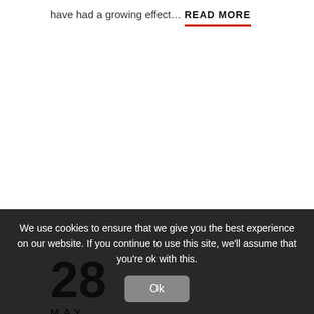have had a growing effect…
READ MORE
28
MAY
We use cookies to ensure that we give you the best experience on our website. If you continue to use this site, we'll assume that you're ok with this.
Ok